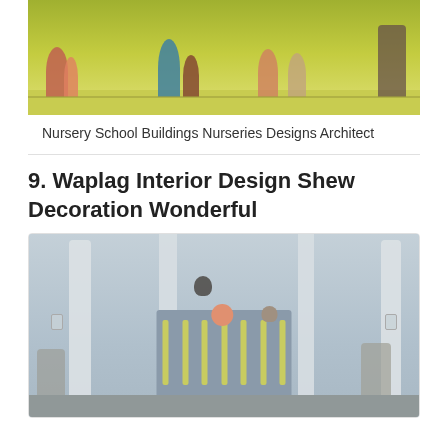[Figure (photo): Children playing in a nursery school room with bright green/yellow walls]
Nursery School Buildings Nurseries Designs Architect
9. Waplag Interior Design Shew Decoration Wonderful
[Figure (photo): Baby nursery room with gray crib, baby inside, woodland animal wall decals including owl, deer, fox, and painted white trees on grey walls]